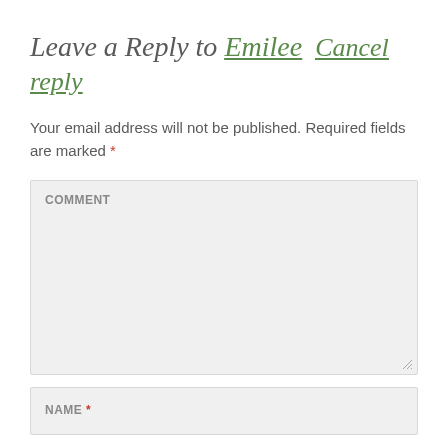Leave a Reply to Emilee  Cancel reply
Your email address will not be published. Required fields are marked *
COMMENT
NAME *